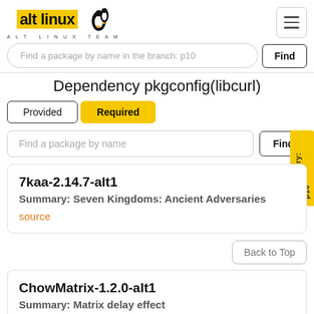[Figure (logo): Alt Linux logo with penguin and 'ALT LINUX TEAM' subtitle]
Find a package by name in the branch: p10
Dependency pkgconfig(libcurl)
Provided | Required (tabs)
Find a package by name
Repository: p10
7kaa-2.14.7-alt1
Summary: Seven Kingdoms: Ancient Adversaries
source
Back to Top
ChowMatrix-1.2.0-alt1
Summary: Matrix delay effect